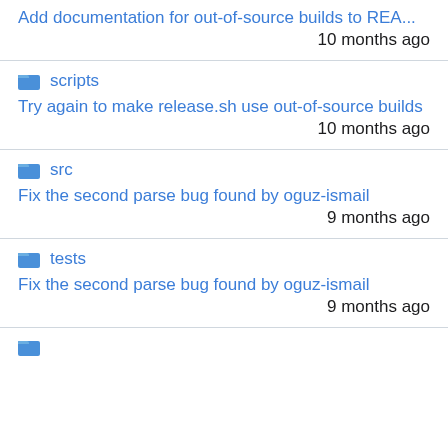Add documentation for out-of-source builds to REA... 10 months ago
scripts - Try again to make release.sh use out-of-source builds - 10 months ago
src - Fix the second parse bug found by oguz-ismail - 9 months ago
tests - Fix the second parse bug found by oguz-ismail - 9 months ago